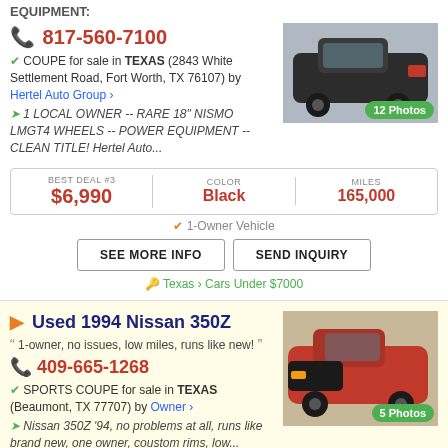EQUIPMENT:
817-560-7100
COUPE for sale in TEXAS (2843 White Settlement Road, Fort Worth, TX 76107) by Hertel Auto Group
1 LOCAL OWNER -- RARE 18" NISMO LMGT4 WHEELS -- POWER EQUIPMENT -- CLEAN TITLE! Hertel Auto...
[Figure (photo): Black Nissan sports coupe, side view, 12 Photos badge]
| BEST DEAL #3 | COLOR | MILES |
| --- | --- | --- |
| $6,990 | Black | 165,000 |
1-Owner Vehicle
SEE MORE INFO | SEND INQUIRY
Texas > Cars Under $7000
Used 1994 Nissan 350Z
1-owner, no issues, low miles, runs like new!
409-665-1268
SPORTS COUPE for sale in TEXAS (Beaumont, TX 77707) by Owner
Nissan 350Z '94, no problems at all, runs like brand new, one owner, coustom rims, low...
[Figure (photo): Red Nissan 350Z sports coupe, front 3/4 view, 5 Photos badge]
| BEST DEAL #4 | COLOR | MILES |
| --- | --- | --- |
| $6,500 | Red | 85,000 |